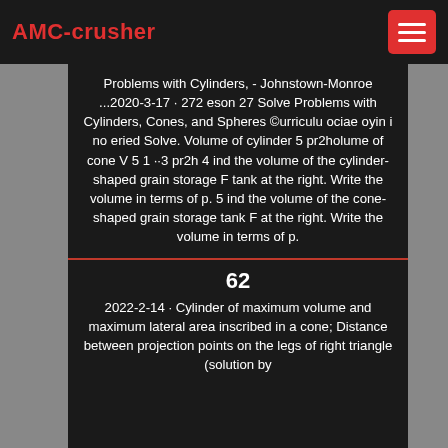AMC-crusher
Problems with Cylinders, - Johnstown-Monroe ...2020-3-17 · 272 eson 27 Solve Problems with Cylinders, Cones, and Spheres ©urriculu ociae oyin i no eried Solve. Volume of cylinder 5 pr2holume of cone V 5 1 ··3 pr2h 4 ind the volume of the cylinder-shaped grain storage F tank at the right. Write the volume in terms of p. 5 ind the volume of the cone-shaped grain storage tank F at the right. Write the volume in terms of p.
62
2022-2-14 · Cylinder of maximum volume and maximum lateral area inscribed in a cone; Distance between projection points on the legs of right triangle (solution by